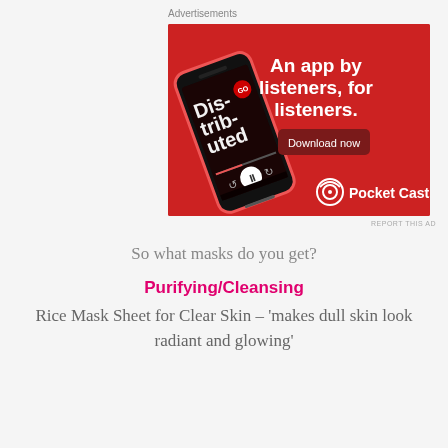Advertisements
[Figure (illustration): Pocket Casts advertisement on red background showing a smartphone with a podcast app open displaying 'Distributed' podcast. Text reads 'An app by listeners, for listeners.' with a 'Download now' button and Pocket Casts logo at bottom right.]
REPORT THIS AD
So what masks do you get?
Purifying/Cleansing
Rice Mask Sheet for Clear Skin – 'makes dull skin look radiant and glowing'